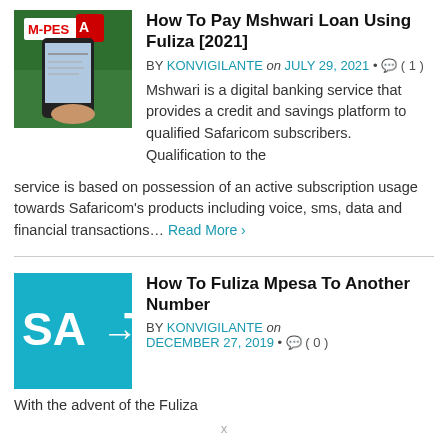How To Pay Mshwari Loan Using Fuliza [2021]
BY KONVIGILANTE on JULY 29, 2021 • ( 1 )
[Figure (photo): Person holding a smartphone in front of M-Pesa signage]
Mshwari is a digital banking service that provides a credit and savings platform to qualified Safaricom subscribers. Qualification to the service is based on possession of an active subscription usage towards Safaricom's products including voice, sms, data and financial transactions… Read More ›
How To Fuliza Mpesa To Another Number
BY KONVIGILANTE on DECEMBER 27, 2019 • ( 0 )
[Figure (photo): Teal graphic showing SA arrow Te, Fuliza Mpesa to another number illustration]
With the advent of the Fuliza